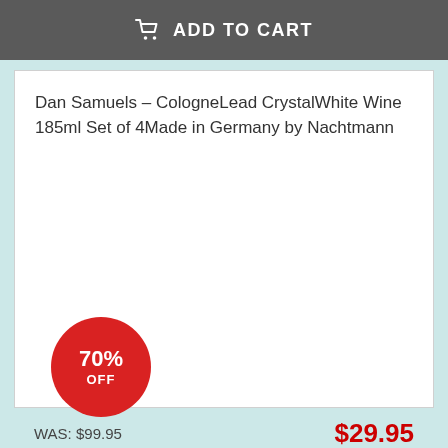ADD TO CART
Dan Samuels – CologneLead CrystalWhite Wine 185ml Set of 4Made in Germany by Nachtmann
[Figure (infographic): Red circular badge showing 70% OFF discount]
WAS: $99.95
$29.95